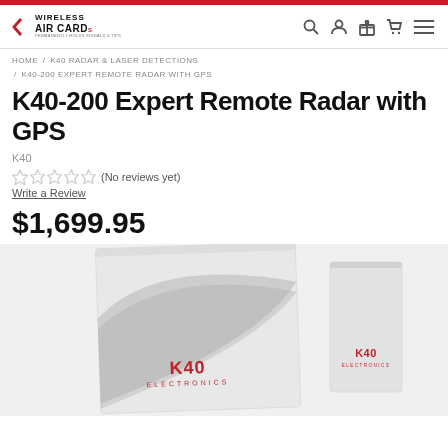Wireless Air Card - Header with navigation icons
HOME / K40 RADAR & LASER DETECTIONS / K40-200 EXPERT REMOTE RADAR WITH GPS
K40-200 Expert Remote Radar with GPS
K40
(No reviews yet)
Write a Review
$1,699.95
[Figure (photo): K40 Electronics product boxes - a large main unit box and a smaller remote sensor unit, both silver/grey with K40 Electronics branding in red]